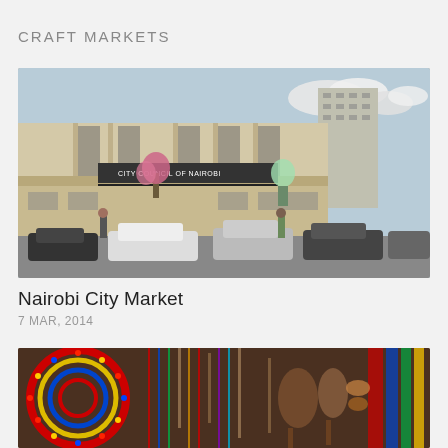CRAFT MARKETS
[Figure (photo): Exterior of Nairobi City Market building. A large multi-storey cream/beige building with a sign reading CITY COUNCIL OF NAIROBI and CITY MARKET. Cars parked in front, trees visible, blue sky with clouds.]
Nairobi City Market
7 MAR, 2014
[Figure (photo): Close-up of colorful craft market items including beaded jewelry, Maasai-style necklaces in red, blue, yellow and green, and hanging wooden carved items.]